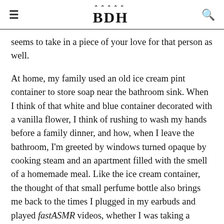BDH
seems to take in a piece of your love for that person as well.
At home, my family used an old ice cream pint container to store soap near the bathroom sink. When I think of that white and blue container decorated with a vanilla flower, I think of rushing to wash my hands before a family dinner, and how, when I leave the bathroom, I'm greeted by windows turned opaque by cooking steam and an apartment filled with the smell of a homemade meal. Like the ice cream container, the thought of that small perfume bottle also brings me back to the times I plugged in my earbuds and played fastASMR videos, whether I was taking a breath between Zoom classes, procrastinating in the library, or in the middle of